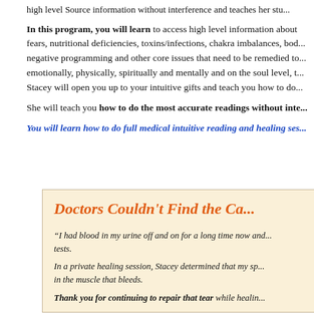high level Source information without interference and teaches her stu...
In this program, you will learn to access high level information about fears, nutritional deficiencies, toxins/infections, chakra imbalances, bod... negative programming and other core issues that need to be remedied to... emotionally, physically, spiritually and mentally and on the soul level, t... Stacey will open you up to your intuitive gifts and teach you how to do...
She will teach you how to do the most accurate readings without inte...
You will learn how to do full medical intuitive reading and healing ses...
Doctors Couldn't Find the Ca...
“I had blood in my urine off and on for a long time now and... tests.
In a private healing session, Stacey determined that my sp... in the muscle that bleeds.
Thank you for continuing to repair that tear while healin...